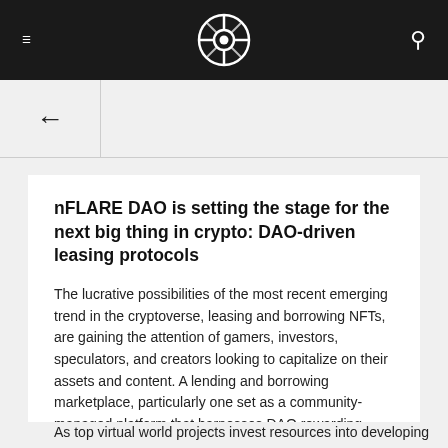nFLARE DAO navigation header with hamburger menu, logo, and search icon
nFLARE DAO is setting the stage for the next big thing in crypto: DAO-driven leasing protocols
The lucrative possibilities of the most recent emerging trend in the cryptoverse, leasing and borrowing NFTs, are gaining the attention of gamers, investors, speculators, and creators looking to capitalize on their assets and content. A lending and borrowing marketplace, particularly one set as a community-managed platform that harnesses DAO rewarding tokenomics, makes it possible to utilize NFT assets across different niches as tools for generating passive revenue on a wide scale, a possibility that NFT holders didn't really have before, or at best - have on a very restricted capacity.
As top virtual world projects invest resources into developing